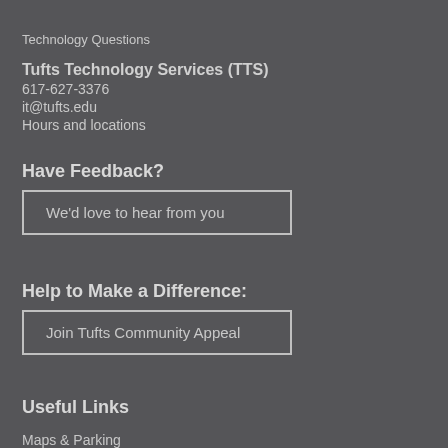Technology Questions
Tufts Technology Services (TTS)
617-627-3376
it@tufts.edu
Hours and locations
Have Feedback?
We'd love to hear from you
Help to Make a Difference:
Join Tufts Community Appeal
Useful Links
Maps & Parking
Policies